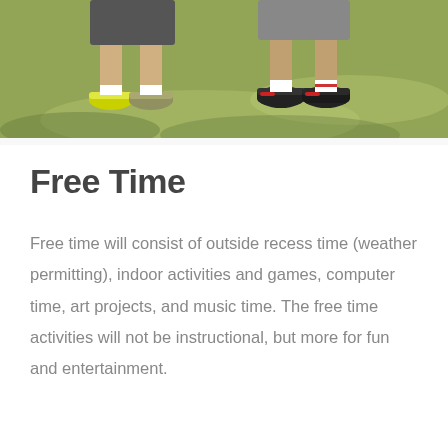[Figure (photo): Photograph showing the lower bodies and feet of two children standing on grass, wearing athletic shoes and shorts in bright sunlight.]
Free Time
Free time will consist of outside recess time (weather permitting), indoor activities and games, computer time, art projects, and music time. The free time activities will not be instructional, but more for fun and entertainment.